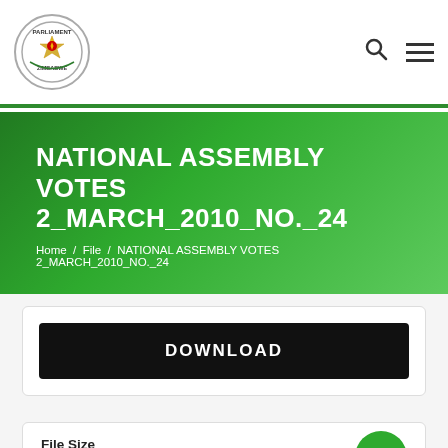Parliament of Zimbabwe — navigation header with logo, search, and menu icons
NATIONAL ASSEMBLY VOTES 2_MARCH_2010_NO._24
Home / File / NATIONAL ASSEMBLY VOTES 2_MARCH_2010_NO._24
DOWNLOAD
| Field | Value |
| --- | --- |
| File Size |  |
| File Count | 1 |